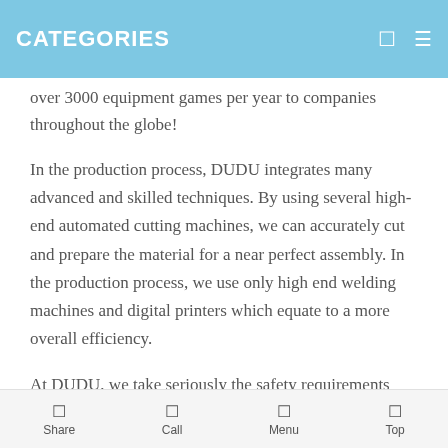CATEGORIES
over 3000 equipment games per year to companies throughout the globe!
In the production process, DUDU integrates many advanced and skilled techniques. By using several high-end automated cutting machines, we can accurately cut and prepare the material for a near perfect assembly. In the production process, we use only high end welding machines and digital printers which equate to a more overall efficiency.
At DUDU, we take seriously the safety requirements and regulations with regards to the inflatable amusement
Share  Call  Menu  Top